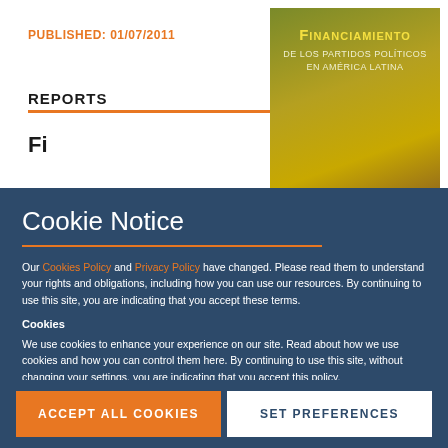PUBLISHED: 01/07/2011
REPORTS
[Figure (illustration): Book cover for Financiamiento de los Partidos Políticos en América Latina, with gold/olive color scheme]
Cookie Notice
Our Cookies Policy and Privacy Policy have changed. Please read them to understand your rights and obligations, including how you can use our resources. By continuing to use this site, you are indicating that you accept these terms.
Cookies
We use cookies to enhance your experience on our site. Read about how we use cookies and how you can control them here. By continuing to use this site, without changing your settings, you are indicating that you accept this policy.
ACCEPT ALL COOKIES
SET PREFERENCES